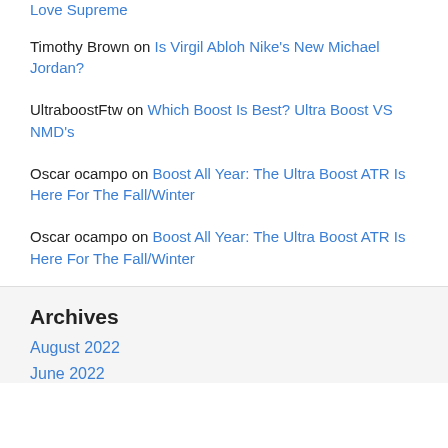Love Supreme
Timothy Brown on Is Virgil Abloh Nike's New Michael Jordan?
UltraboostFtw on Which Boost Is Best? Ultra Boost VS NMD's
Oscar ocampo on Boost All Year: The Ultra Boost ATR Is Here For The Fall/Winter
Oscar ocampo on Boost All Year: The Ultra Boost ATR Is Here For The Fall/Winter
Archives
August 2022
June 2022